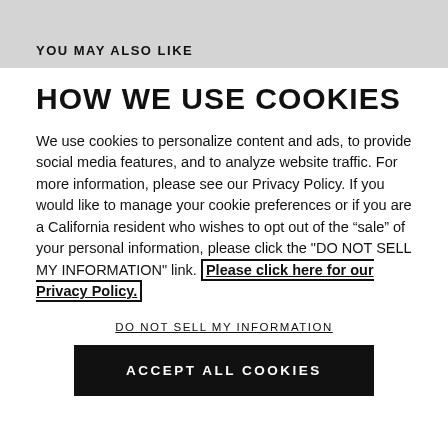YOU MAY ALSO LIKE
HOW WE USE COOKIES
We use cookies to personalize content and ads, to provide social media features, and to analyze website traffic. For more information, please see our Privacy Policy. If you would like to manage your cookie preferences or if you are a California resident who wishes to opt out of the "sale" of your personal information, please click the "DO NOT SELL MY INFORMATION" link. Please click here for our Privacy Policy.
DO NOT SELL MY INFORMATION
ACCEPT ALL COOKIES